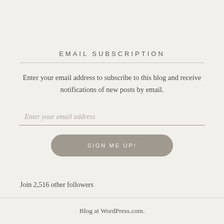EMAIL SUBSCRIPTION
Enter your email address to subscribe to this blog and receive notifications of new posts by email.
Enter your email address
SIGN ME UP!
Join 2,516 other followers
Blog at WordPress.com.